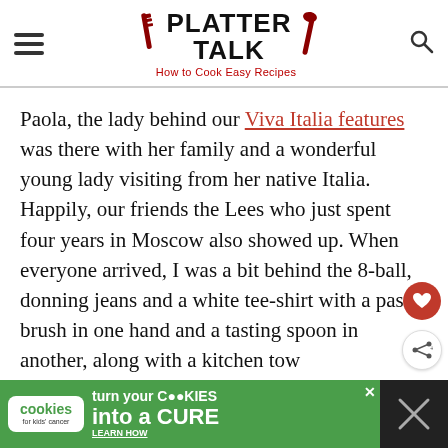PLATTER TALK — How to Cook Easy Recipes
Paola, the lady behind our Viva Italia features was there with her family and a wonderful young lady visiting from her native Italia. Happily, our friends the Lees who just spent four years in Moscow also showed up. When everyone arrived, I was a bit behind the 8-ball, donning jeans and a white tee-shirt with a pastry brush in one hand and a tasting spoon in another, along with a kitchen towel
[Figure (infographic): Green advertisement banner: cookies for kids cancer — turn your COOKIES into a CURE LEARN HOW]